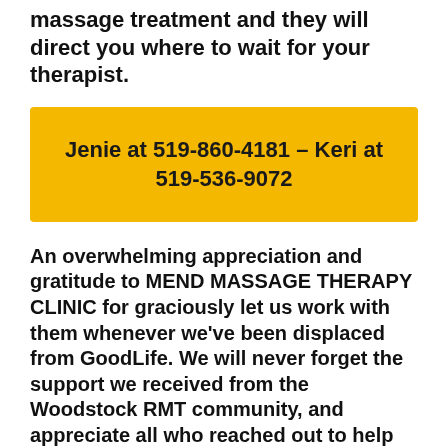massage treatment and they will direct you where to wait for your therapist.
Jenie at 519-860-4181 – Keri at 519-536-9072
An overwhelming appreciation and gratitude to MEND MASSAGE THERAPY CLINIC for graciously let us work with them whenever we've been displaced from GoodLife. We will never forget the support we received from the Woodstock RMT community, and appreciate all who reached out to help us during the time we were displaced.